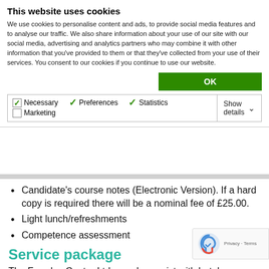This website uses cookies
We use cookies to personalise content and ads, to provide social media features and to analyse our traffic. We also share information about your use of our site with our social media, advertising and analytics partners who may combine it with other information that you've provided to them or that they've collected from your use of their services. You consent to our cookies if you continue to use our website.
Candidate's course notes (Electronic Version). If a hard copy is required there will be a nominal fee of £25.00.
Light lunch/refreshments
Competence assessment
Service package
The Faraday Centre Ltd can also assist with hotel